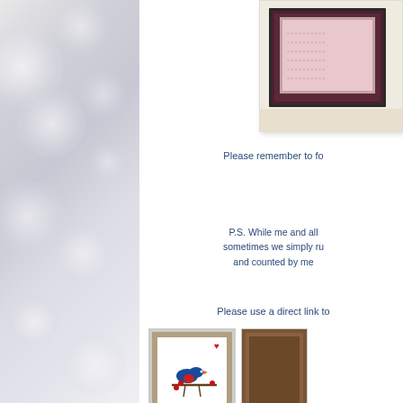[Figure (photo): Left side decorative background with bokeh/bubble light effect in gray and white tones]
[Figure (photo): Greeting card photo showing layered card with patterned paper in pink/dark tones with small heart motifs, partially cropped at top right]
Please remember to fo
P.S. While me and all sometimes we simply ru and counted by me
Please use a direct link to
[Figure (photo): Thumbnail 1: Handmade card with bird on branch with red berries and heart, on decorative patterned border background]
1. Thrifty Finn
[Figure (photo): Thumbnail 2: Partially visible brown/dark toned card or craft item]
2. A